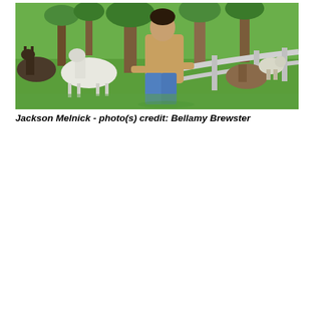[Figure (photo): A man in a tan/khaki shirt and jeans crouching outdoors on green grass near a white wooden fence rail, with ponies/horses and other small animals (donkey, sheep) visible in the background among trees. The setting appears to be a farm or petting zoo.]
Jackson Melnick - photo(s) credit: Bellamy Brewster